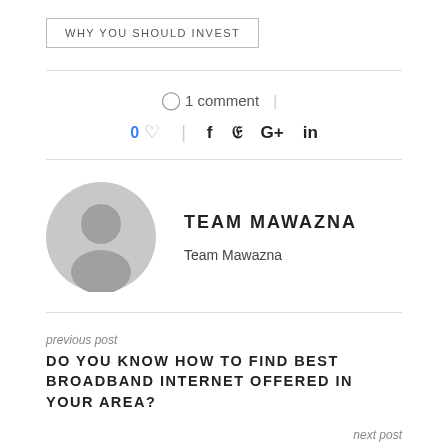WHY YOU SHOULD INVEST
1 comment
0 ♡ | f 🐦 G+ in
TEAM MAWAZNA
Team Mawazna
previous post
DO YOU KNOW HOW TO FIND BEST BROADBAND INTERNET OFFERED IN YOUR AREA?
next post
A GUIDE TO UNDERSTAND BEST REWARDS